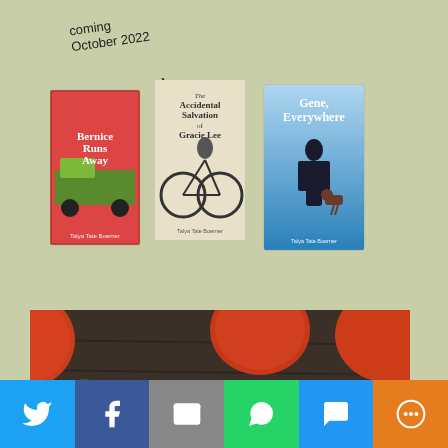coming October 2022
[Figure (illustration): Three book covers by Talya Tate Boerner: 'Bernice Runs Away' (red cover), 'The Accidental Salvation of Gracie Lee' (black and white bicycle cover), and 'Gene, Everywhere' (blue cover with silhouette)]
[Figure (photo): Close-up photograph of multiple orange-red heirloom tomatoes on a dark wooden surface]
[Figure (infographic): Social sharing bar with buttons for Twitter, Facebook, Email, WhatsApp, SMS, and More]